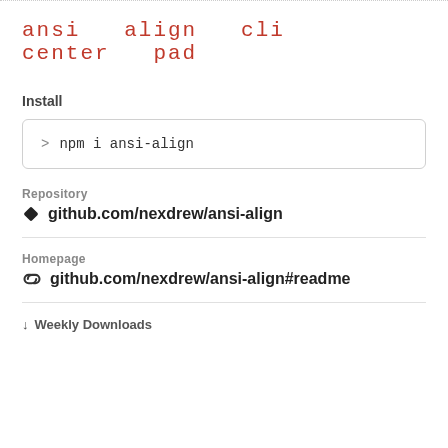ansi  align  cli  center  pad
Install
Repository
github.com/nexdrew/ansi-align
Homepage
github.com/nexdrew/ansi-align#readme
Weekly Downloads